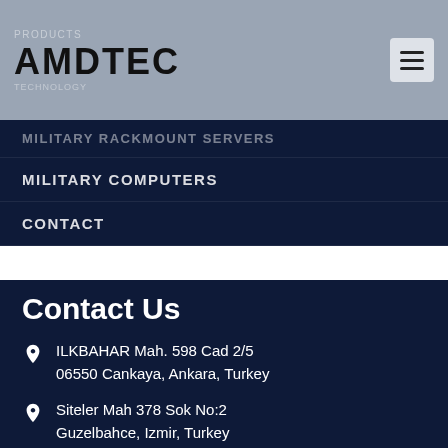AMDTEC
MILITARY RACKMOUNT SERVERS
MILITARY COMPUTERS
CONTACT
Contact Us
ILKBAHAR Mah. 598 Cad 2/5
06550 Cankaya, Ankara, Turkey
Siteler Mah 378 Sok No:2
Guzelbahce, Izmir, Turkey
+90 850 250 1234
marketing@amdtec.com.tr